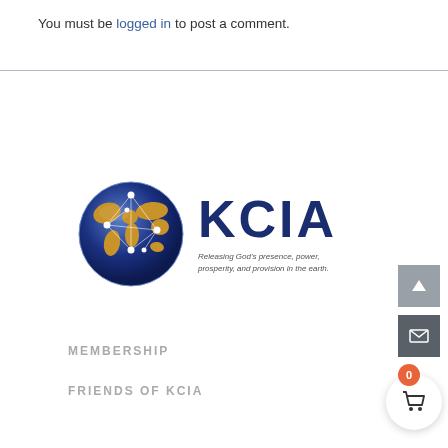You must be logged in to post a comment.
[Figure (logo): KCIA logo: globe with network lines on left, large dark blue 'KCIA' text on right, subtitle 'Releasing God's presence, power, prosperity, and provision in the earth.']
MEMBERSHIP
FRIENDS OF KCIA